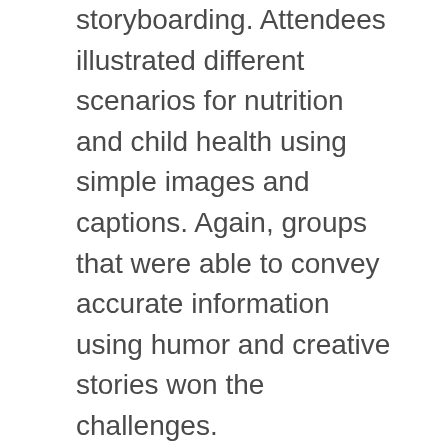storyboarding. Attendees illustrated different scenarios for nutrition and child health using simple images and captions. Again, groups that were able to convey accurate information using humor and creative stories won the challenges.
Winning approaches combined creativity, concise yet clear language, and humor – in short, those with messages that conveyed the correct health information in a memorable yet quick fashion. The third group, led by FHI 360, worked on role modeling. By creating personal, first-person role model stories and disseminating them over SMS, the audience is meant to understand basic health knowledge while being encouraged to change their behavior for healthier habits. These sessions were mostly discussion oriented, and touched on topics such as building relationships with the user